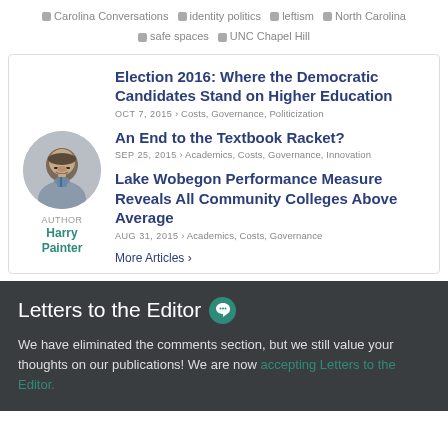Carolina Conversations  identity politics  leftism  North Carolina  safe spaces  UNC Chapel Hill
[Figure (photo): Circular author headshot of Harry Painter, a man with glasses and a beard wearing a suit and tie]
Election 2016: Where the Democratic Candidates Stand on Higher Education
OCT 7, 2015 › Costs, Governance, Politicization
An End to the Textbook Racket?
SEP 25, 2015 › Academics, Costs, Governance, Innovation
Lake Wobegon Performance Measure Reveals All Community Colleges Above Average
AUG 31, 2015 › Academics, Costs, Governance
More Articles ›
Letters to the Editor
We have eliminated the comments section, but we still value your thoughts on our publications! We are now accepting Letters to the Editor.